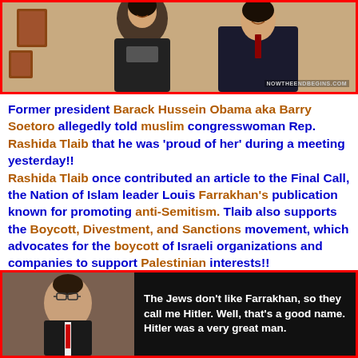[Figure (photo): Photo of two people smiling, one in a dark jacket, with framed items on wall behind them. Watermark in lower right corner.]
Former president Barack Hussein Obama aka Barry Soetoro allegedly told muslim congresswoman Rep. Rashida Tlaib that he was 'proud of her' during a meeting yesterday!! Rashida Tlaib once contributed an article to the Final Call, the Nation of Islam leader Louis Farrakhan's publication known for promoting anti-Semitism. Tlaib also supports the Boycott, Divestment, and Sanctions movement, which advocates for the boycott of Israeli organizations and companies to support Palestinian interests!!
[Figure (photo): Photo of a person on left side, with a quote on black background on right: 'The Jews don't like Farrakhan, so they call me Hitler. Well, that's a good name. Hitler was a very great man.']